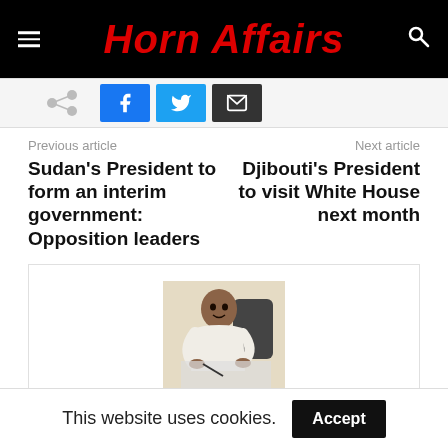Horn Affairs
[Figure (infographic): Social share buttons: share icon, Facebook button, Twitter button, Email button]
Previous article
Next article
Sudan's President to form an interim government: Opposition leaders
Djibouti's President to visit White House next month
[Figure (photo): Photo of author Daniel Berhane sitting at a desk writing]
Daniel Berhane
This website uses cookies.